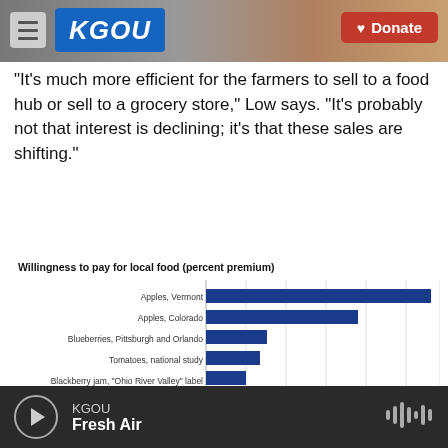KGOU — Donate
"It's much more efficient for the farmers to sell to a food hub or sell to a grocery store," Low says. "It's probably not that interest is declining; it's that these sales are shifting."
[Figure (bar-chart): Willingness to pay for local food (percent premium)]
KGOU — Fresh Air